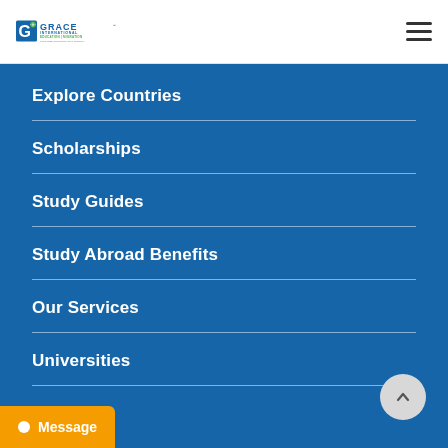Grace International Education & Migration logo and navigation menu toggle
Explore Countries
Scholarships
Study Guides
Study Abroad Benefits
Our Services
Universities